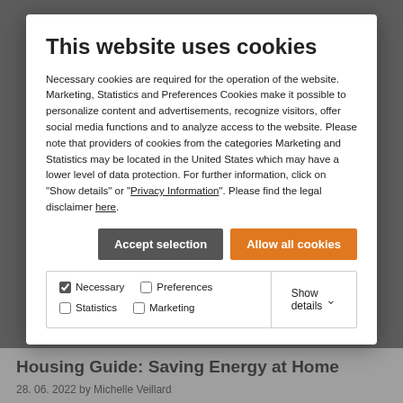This website uses cookies
Necessary cookies are required for the operation of the website. Marketing, Statistics and Preferences Cookies make it possible to personalize content and advertisements, recognize visitors, offer social media functions and to analyze access to the website. Please note that providers of cookies from the categories Marketing and Statistics may be located in the United States which may have a lower level of data protection. For further information, click on "Show details" or "Privacy Information". Please find the legal disclaimer here.
Accept selection | Allow all cookies
☑ Necessary  ☐ Preferences  ☐ Statistics  ☐ Marketing  Show details ∨
Housing Guide: Saving Energy at Home
28. 06. 2022 by Michelle Veillard